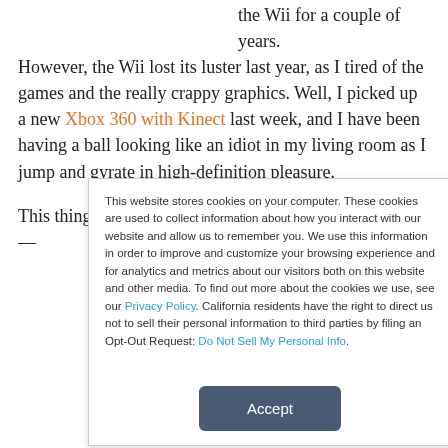the Wii for a couple of years. However, the Wii lost its luster last year, as I tired of the games and the really crappy graphics. Well, I picked up a new Xbox 360 with Kinect last week, and I have been having a ball looking like an idiot in my living room as I jump and gyrate in high-definition pleasure.

This thing is actually a lot of fun, and the bundled games —
This website stores cookies on your computer. These cookies are used to collect information about how you interact with our website and allow us to remember you. We use this information in order to improve and customize your browsing experience and for analytics and metrics about our visitors both on this website and other media. To find out more about the cookies we use, see our Privacy Policy. California residents have the right to direct us not to sell their personal information to third parties by filing an Opt-Out Request: Do Not Sell My Personal Info.